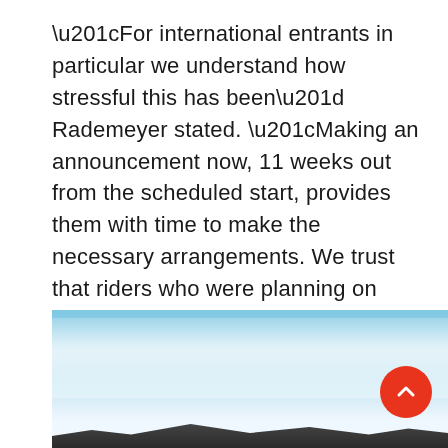“For international entrants in particular we understand how stressful this has been” Rademeyer stated. “Making an announcement now, 11 weeks out from the scheduled start, provides them with time to make the necessary arrangements. We trust that riders who were planning on visiting South Africa for the race will be able to cancel or defer their flight and accommodation bookings to 2021. The country’s tourism sector in general and the Southern Cape’s, in particular, will need international visitors next year, so we hope that you will rather defer your trip than cancel it completely.”
[Figure (photo): Landscape photo showing a blue sky with white clouds and a dark mountain silhouette at the bottom, likely in South Africa (Southern Cape region).]